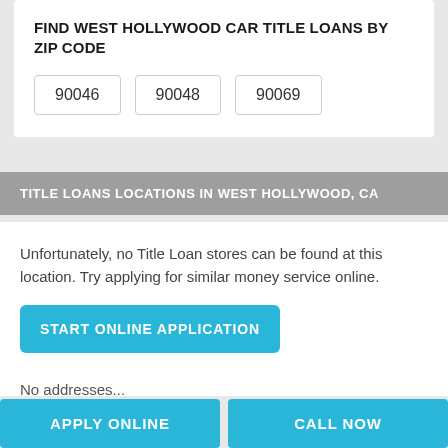FIND WEST HOLLYWOOD CAR TITLE LOANS BY ZIP CODE
90046
90048
90069
TITLE LOANS LOCATIONS IN WEST HOLLYWOOD, CA
Unfortunately, no Title Loan stores can be found at this location. Try applying for similar money service online.
START ONLINE APPLICATION
No addresses...
APPLY ONLINE
CALL NOW